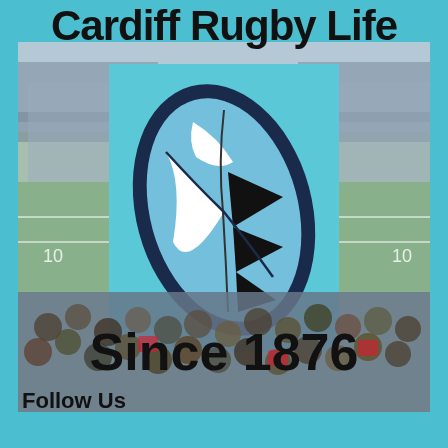Cardiff Rugby Life
[Figure (logo): Cardiff Rugby Life logo - blue square background with Cardiff Blues rugby ball logo (dark navy oval with light blue and white sections and black triangles). Background shows stadium and crowd images.]
Since 1876
Follow Us